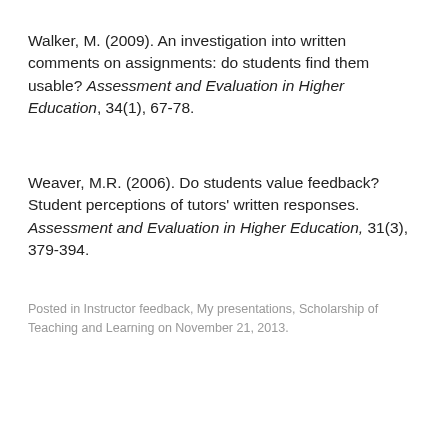Walker, M. (2009). An investigation into written comments on assignments: do students find them usable? Assessment and Evaluation in Higher Education, 34(1), 67-78.
Weaver, M.R. (2006). Do students value feedback? Student perceptions of tutors' written responses. Assessment and Evaluation in Higher Education, 31(3), 379-394.
Posted in Instructor feedback, My presentations, Scholarship of Teaching and Learning on November 21, 2013.